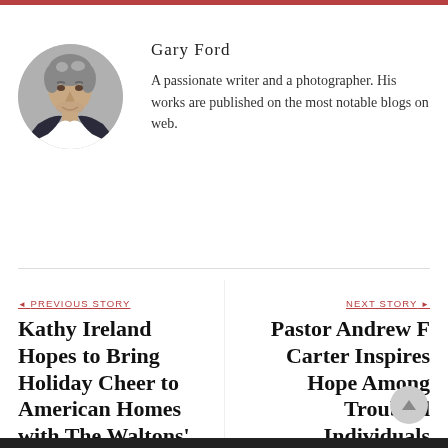[Figure (photo): Circular portrait photo of Gary Ford, a middle-aged man with gray-streaked hair wearing a dark suit and white shirt, smiling slightly against a gray background.]
Gary Ford
A passionate writer and a photographer. His works are published on the most notable blogs on web.
◄ PREVIOUS STORY
Kathy Ireland Hopes to Bring Holiday Cheer to American Homes with The Waltons' Homecoming
NEXT STORY ►
Pastor Andrew F Carter Inspires Hope Among Troubled Individuals Through the Gospel and His Personal Struggles